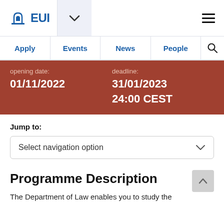EUI – European University Institute navigation header with logo, dropdown, Apply, Events, News, People, Search
opening date: 01/11/2022
deadline: 31/01/2023 24:00 CEST
Jump to:
Select navigation option
Programme Description
The Department of Law enables you to study the